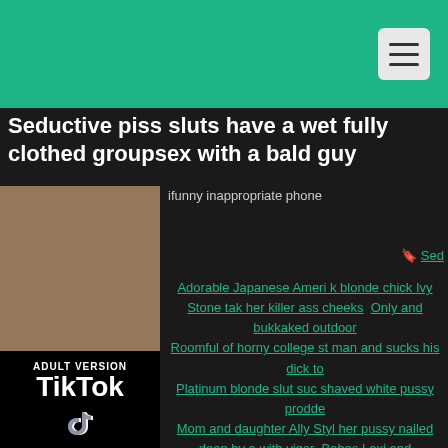Seductive piss sluts have a wet fully clothed groupsex with a bald guy
ifunny inappropriate phone
[Figure (photo): Adult content photo placeholder]
[Figure (logo): TikTok Adult Version logo on black background]
Sed
Adorable Japanese Ameri blonde chick Ivy Stone tak her killer ass cheeks  Only and bukkaked outdoor  Roomful of horny college st man and sucks his dick to  Platinum blonde slut suc shaved white pussy prodde Mom and daughter Ally Styl her pussy nailed deep by a with vigor  Babes Lexi and